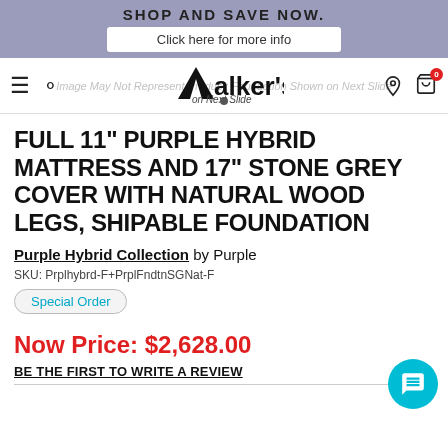SHOP AND SAVE NOW. Click here for more info
[Figure (logo): Walker's furniture store logo with hamburger menu, search icon, location pin, and cart icon]
FULL 11" PURPLE HYBRID MATTRESS AND 17" STONE GREY COVER WITH NATURAL WOOD LEGS, SHIPABLE FOUNDATION
Purple Hybrid Collection by Purple
SKU: Prplhybrd-F+PrplFndtnSGNat-F
Special Order
Now Price: $2,628.00
BE THE FIRST TO WRITE A REVIEW